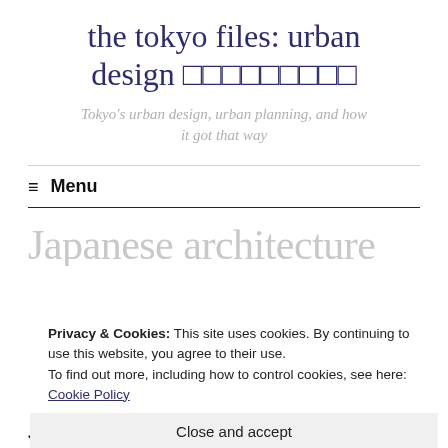the tokyo files: urban design 東京都市デザイン
Tokyo's urban design, urban planning, and how it got that way
Menu
Japanese architecture
Privacy & Cookies: This site uses cookies. By continuing to use this website, you agree to their use.
To find out more, including how to control cookies, see here: Cookie Policy
Close and accept
Japanese architectural styles and forms (in